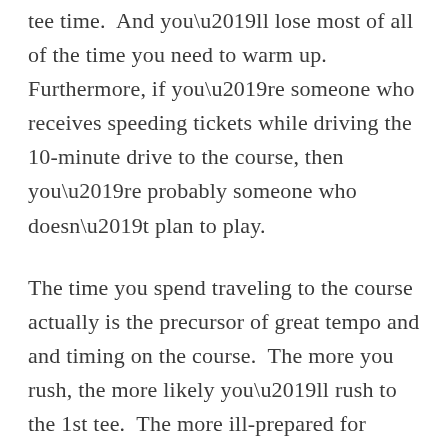tee time.  And you’ll lose most of all of the time you need to warm up.  Furthermore, if you’re someone who receives speeding tickets while driving the 10-minute drive to the course, then you’re probably someone who doesn’t plan to play.
The time you spend traveling to the course actually is the precursor of great tempo and and timing on the course.  The more you rush, the more likely you’ll rush to the 1st tee.  The more ill-prepared for circumstances beyond your control on the way to the course, the more you’re ill-prepared you’ll handle the adversity you’ll face on the course.
How long sho...